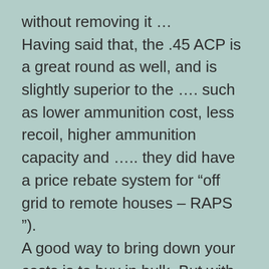without removing it …
Having said that, the .45 ACP is a great round as well, and is slightly superior to the …. such as lower ammunition cost, less recoil, higher ammunition capacity and ….. they did have a price rebate system for “off grid to remote houses – RAPS ”).
A good way to bring down your costs is to buy in bulk. But with Estate .45 ACP ammunition, there is no need to. Each box of Estate .45 ACP ammunition contains …